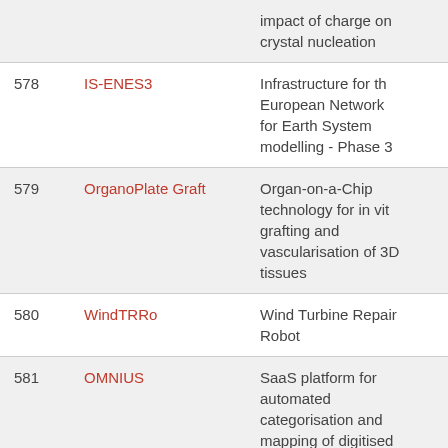| # | Name | Description |
| --- | --- | --- |
|  |  | impact of charge on crystal nucleation |
| 578 | IS-ENES3 | Infrastructure for the European Network for Earth System modelling - Phase 3 |
| 579 | OrganoPlate Graft | Organ-on-a-Chip technology for in vitro grafting and vascularisation of 3D tissues |
| 580 | WindTRRo | Wind Turbine Repair Robot |
| 581 | OMNIUS | SaaS platform for automated categorisation and mapping of digitised documents using machine intelligence |